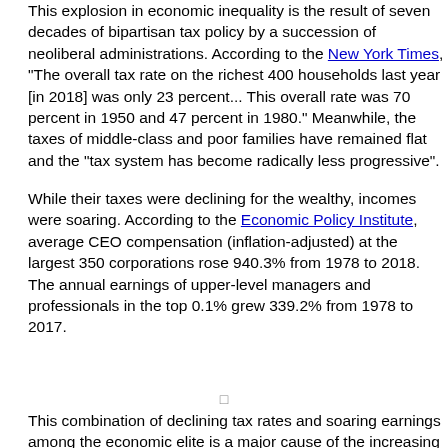This explosion in economic inequality is the result of seven decades of bipartisan tax policy by a succession of neoliberal administrations. According to the New York Times, "The overall tax rate on the richest 400 households last year [in 2018] was only 23 percent... This overall rate was 70 percent in 1950 and 47 percent in 1980." Meanwhile, the taxes of middle-class and poor families have remained flat and the "tax system has become radically less progressive".
While their taxes were declining for the wealthy, incomes were soaring. According to the Economic Policy Institute, average CEO compensation (inflation-adjusted) at the largest 350 corporations rose 940.3% from 1978 to 2018. The annual earnings of upper-level managers and professionals in the top 0.1% grew 339.2% from 1978 to 2017.
This combination of declining tax rates and soaring earnings among the economic elite is a major cause of the increasing number, wealth, and power of billionaires. Most of their lavish income isn't needed for living expenses. It just keeps accumulating in their accounts, generating more wealth through interest, dividends, and growth in the market value of